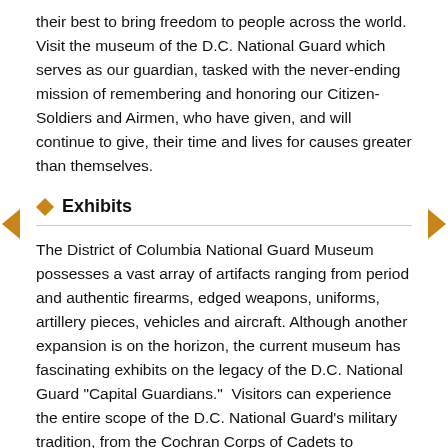their best to bring freedom to people across the world. Visit the museum of the D.C. National Guard which serves as our guardian, tasked with the never-ending mission of remembering and honoring our Citizen-Soldiers and Airmen, who have given, and will continue to give, their time and lives for causes greater than themselves.
Exhibits
The District of Columbia National Guard Museum possesses a vast array of artifacts ranging from period and authentic firearms, edged weapons, uniforms, artillery pieces, vehicles and aircraft. Although another expansion is on the horizon, the current museum has fascinating exhibits on the legacy of the D.C. National Guard "Capital Guardians."  Visitors can experience the entire scope of the D.C. National Guard's military tradition, from the Cochran Corps of Cadets to participation in Presidential inaugurations.
Click here to view our exhibits